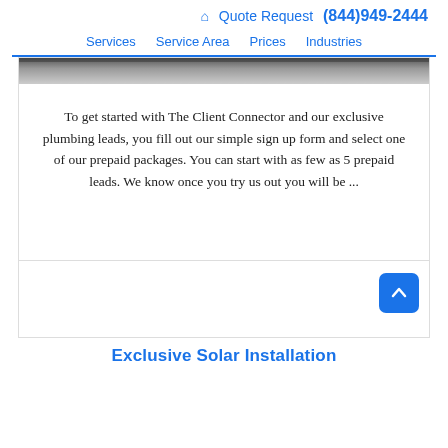🏠 Quote Request  (844)949-2444
Services  Service Area  Prices  Industries
[Figure (photo): Partial photo strip showing the top of an image, appears to be a person or worker, dark tones at top]
To get started with The Client Connector and our exclusive plumbing leads, you fill out our simple sign up form and select one of our prepaid packages. You can start with as few as 5 prepaid leads. We know once you try us out you will be ...
Exclusive Solar Installation